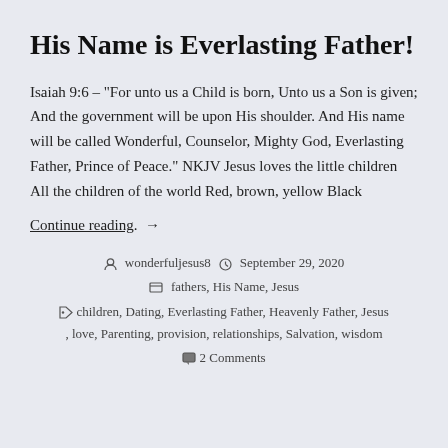His Name is Everlasting Father!
Isaiah 9:6 – “For unto us a Child is born, Unto us a Son is given; And the government will be upon His shoulder. And His name will be called Wonderful, Counselor, Mighty God, Everlasting Father, Prince of Peace.” NKJV Jesus loves the little children All the children of the world Red, brown, yellow Black
Continue reading. →
wonderfuljesus8   September 29, 2020   fathers, His Name, Jesus   children, Dating, Everlasting Father, Heavenly Father, Jesus , love, Parenting, provision, relationships, Salvation, wisdom   2 Comments